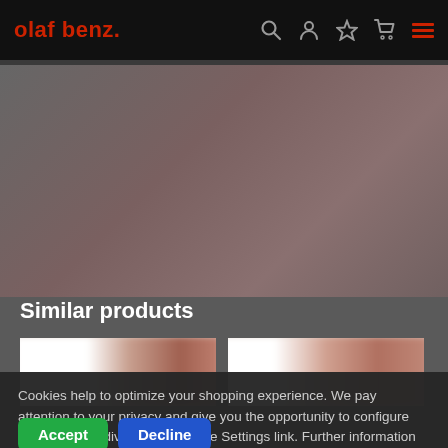olaf benz.
[Figure (photo): Product image area, mostly gray/dark background with product visible]
Similar products
[Figure (photo): Two product thumbnail images side by side, partially blurred]
Cookies help to optimize your shopping experience. We pay attention to your privacy and give you the opportunity to configure the Cookies individually using the Settings link. Further information can be found in the data protection declaration. Settings...
Accept
Decline